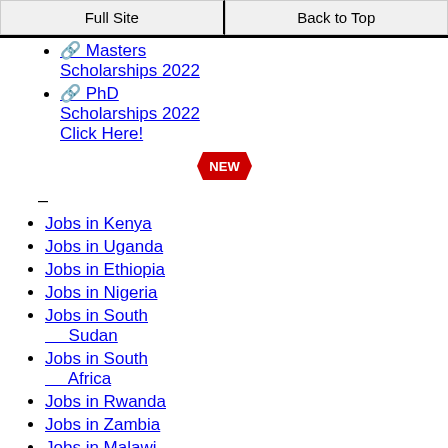Full Site | Back to Top
🔗 Masters Scholarships 2022
🔗 PhD Scholarships 2022 Click Here!
[Figure (other): Red NEW badge/starburst graphic]
–
Jobs in Kenya
Jobs in Uganda
Jobs in Ethiopia
Jobs in Nigeria
Jobs in South Sudan
Jobs in South Africa
Jobs in Rwanda
Jobs in Zambia
Jobs in Malawi
Jobs in Ghana